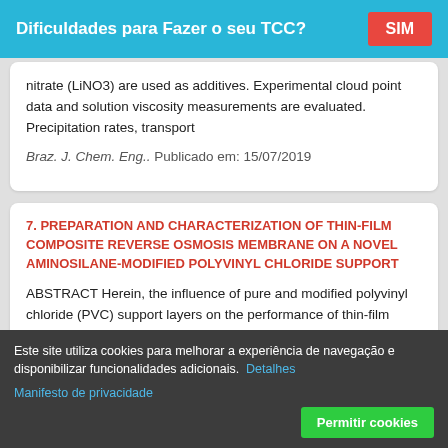[Figure (other): Ad banner with text 'Dificuldades para Fazer o seu TCC?' and red 'SIM' button on cyan background]
nitrate (LiNO3) are used as additives. Experimental cloud point data and solution viscosity measurements are evaluated. Precipitation rates, transport
Braz. J. Chem. Eng.. Publicado em: 15/07/2019
7. PREPARATION AND CHARACTERIZATION OF THIN-FILM COMPOSITE REVERSE OSMOSIS MEMBRANE ON A NOVEL AMINOSILANE-MODIFIED POLYVINYL CHLORIDE SUPPORT
ABSTRACT Herein, the influence of pure and modified polyvinyl chloride (PVC) support layers on the performance of thin-film composite (TFC)
[Figure (other): Cookie consent banner with dark background, text about cookies, links 'Detalhes' and 'Manifesto de privacidade', and green 'Permitir cookies' button]